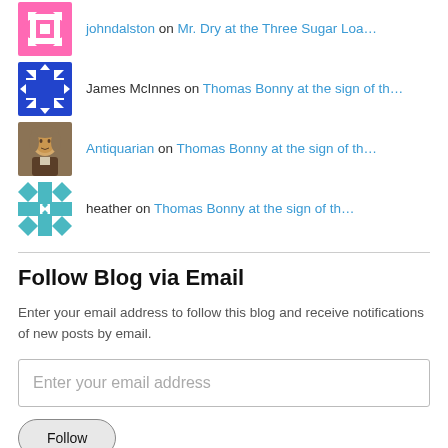johndalston on Mr. Dry at the Three Sugar Loa...
James McInnes on Thomas Bonny at the sign of th...
Antiquarian on Thomas Bonny at the sign of th...
heather on Thomas Bonny at the sign of th...
Follow Blog via Email
Enter your email address to follow this blog and receive notifications of new posts by email.
Enter your email address
Follow